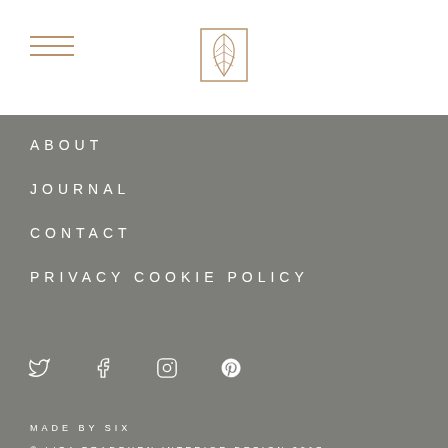[Figure (logo): Hamburger menu icon with three horizontal lines in gold/tan color]
[Figure (logo): Lisa Bradburn Interior Design logo - geometric leaf design in gold outline]
ABOUT
JOURNAL
CONTACT
PRIVACY COOKIE POLICY
[Figure (infographic): Social media icons row: Twitter, Facebook, Instagram, Pinterest in white]
MADE BY SIX
© LISA BRADBURN INTERIOR DESIGN 2017